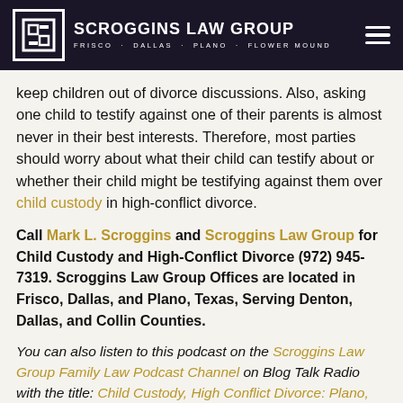SCROGGINS LAW GROUP — FRISCO · DALLAS · PLANO · FLOWER MOUND
keep children out of divorce discussions. Also, asking one child to testify against one of their parents is almost never in their best interests. Therefore, most parties should worry about what their child can testify about or whether their child might be testifying against them over child custody in high-conflict divorce.
Call Mark L. Scroggins and Scroggins Law Group for Child Custody and High-Conflict Divorce (972) 945-7319. Scroggins Law Group Offices are located in Frisco, Dallas, and Plano, Texas, Serving Denton, Dallas, and Collin Counties.
You can also listen to this podcast on the Scroggins Law Group Family Law Podcast Channel on Blog Talk Radio with the title: Child Custody, High Conflict Divorce: Plano, TX Custody Lawyer Mark L. Scroggins.